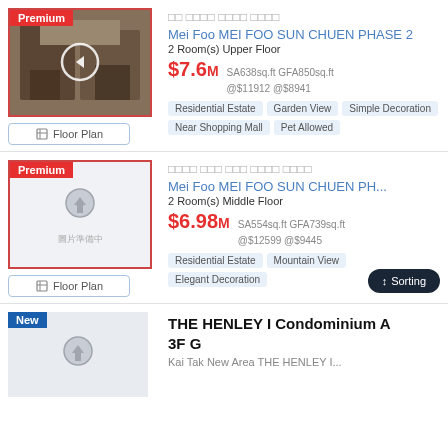[Figure (photo): Interior room photo with Premium badge]
Mei Foo MEI FOO SUN CHUEN PHASE 2
2 Room(s) Upper Floor
$7.6M SA638sq.ft GFA850sq.ft @$11912 @$8941
Residential Estate  Garden View  Simple Decoration  Near Shopping Mall  Pet Allowed
[Figure (photo): No photo placeholder with Premium badge]
Mei Foo MEI FOO SUN CHUEN PH...
2 Room(s) Middle Floor
$6.98M SA554sq.ft GFA739sq.ft @$12599 @$9445
Residential Estate  Mountain View  Elegant Decoration
[Figure (photo): New listing placeholder image]
THE HENLEY I Condominium A 3F G
Kai Tak New Area THE HENLEY I...